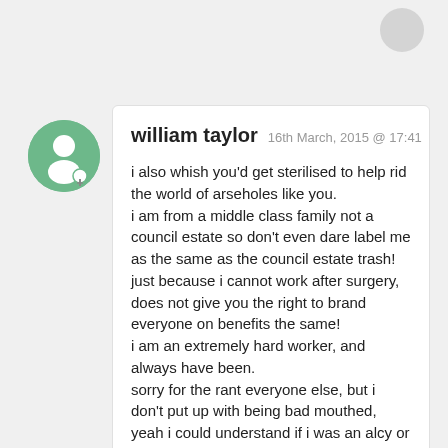[Figure (illustration): Green circular avatar icon with a person/user silhouette and a small key or pin badge at the bottom right]
william taylor  16th March, 2015 @ 17:41

i also whish you'd get sterilised to help rid the world of arseholes like you.
i am from a middle class family not a council estate so don't even dare label me as the same as the council estate trash!
just because i cannot work after surgery, does not give you the right to brand everyone on benefits the same!
i am an extremely hard worker, and always have been.
sorry for the rant everyone else, but i don't put up with being bad mouthed, yeah i could understand if i was an alcy or druggie, just a dole dosser but i am so far away from that type